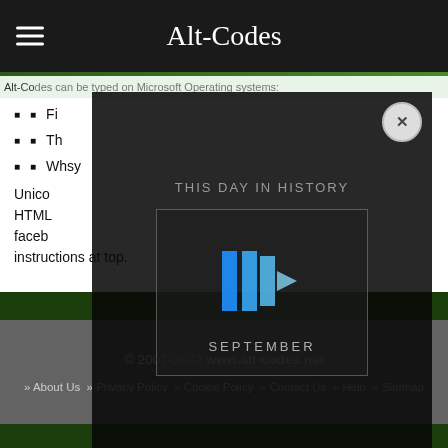Alt-Codes
Alt-Codes can be typed on Microsoft Operating systems:
Fi...
Th...
Wh... sy...
Unico... HTML... faceb... instructions at top.
[Figure (screenshot): Video overlay modal with 'THIS DAY IN HISTORY' title, a play button graphic with blue chevron arrows, 'SEPTEMBER' label, close button (X), and mute icon]
© 2007-2022 www.alt-codes.net » About Us » Privacy Policy » Cookie Policy » Contact Us » Help » Sitemap